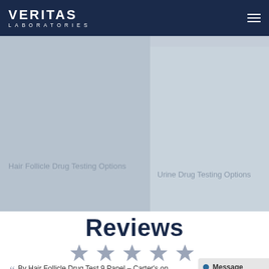[Figure (logo): Veritas Laboratories logo in white text on dark navy header bar with hamburger menu icon on right]
[Figure (illustration): Two overlapping banner panels in light steel blue/grey tones. Left panel labeled 'Hair Follicle Drug Testing Options', right panel labeled 'Urine Drug Testing Options'. Both panels are placeholder image blocks.]
Reviews
[Figure (infographic): Five grey star rating icons in a row]
By Hair Follicle Drug Test 9 Panel – Carter's on